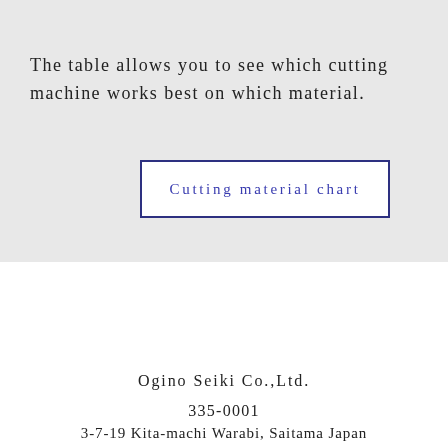The table allows you to see which cutting machine works best on which material.
Cutting material chart
Ogino Seiki Co.,Ltd.
335-0001
3-7-19 Kita-machi Warabi, Saitama Japan